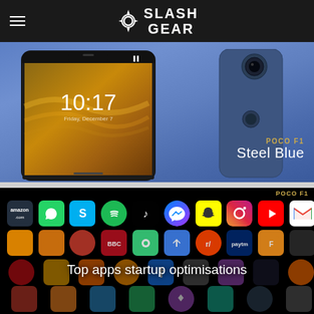SlashGear
[Figure (photo): POCO F1 smartphone in Steel Blue color shown from front and back against a blue-gray background]
POCO F1 Steel Blue
[Figure (screenshot): POCO F1 app grid showing multiple app icons including Amazon, WhatsApp, Skype, Spotify, TikTok, Messenger, Snapchat, Instagram, YouTube, Gmail and many others on a black background, with text overlay reading 'Top apps startup optimisations']
Top apps startup optimisations